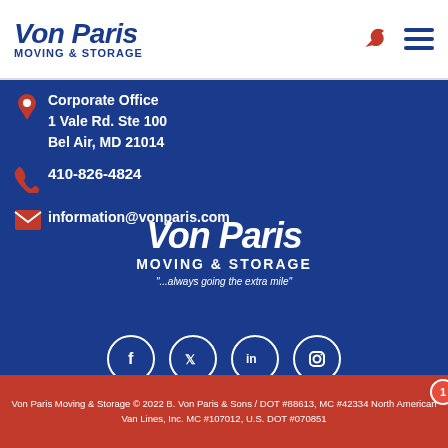[Figure (logo): Von Paris Moving & Storage company logo in blue italic bold text]
Corporate Office
1 Vale Rd. Ste 100
Bel Air, MD 21014
410-826-4824
information@vonparis.com
[Figure (logo): Von Paris Moving & Storage large white logo with tagline "...always going the extra mile"]
[Figure (other): Social media icons row: Facebook, Twitter, LinkedIn, Instagram in white circles]
Von Paris Moving & Storage © 2022 B. Von Paris & Sons / DOT #88613, MC #42334 North American Van Lines, Inc. MC #107012, U.S. DOT #070851